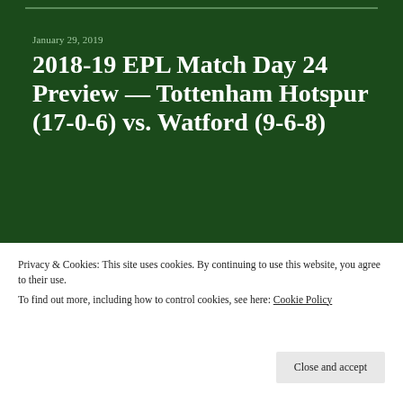January 29, 2019
2018-19 EPL Match Day 24 Preview — Tottenham Hotspur (17-0-6) vs. Watford (9-6-8)
December 13, 2018
2018-19 EPL Match Day 17
Privacy & Cookies: This site uses cookies. By continuing to use this website, you agree to their use.
To find out more, including how to control cookies, see here: Cookie Policy
Close and accept